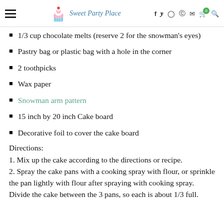Sweet Party Place
1/3 cup chocolate melts (reserve 2 for the snowman's eyes)
Pastry bag or plastic bag with a hole in the corner
2 toothpicks
Wax paper
Snowman arm pattern
15 inch by 20 inch Cake board
Decorative foil to cover the cake board
Directions:
1. Mix up the cake according to the directions or recipe. 2. Spray the cake pans with a cooking spray with flour, or sprinkle the pan lightly with flour after spraying with cooking spray. Divide the cake between the 3 pans, so each is about 1/3 full.